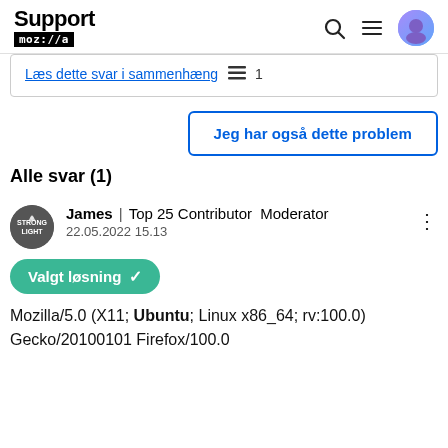Support mozilla
Læs dette svar i sammenhæng 1
Jeg har også dette problem
Alle svar (1)
James | Top 25 Contributor Moderator
22.05.2022 15.13
Valgt løsning ✓
Mozilla/5.0 (X11; Ubuntu; Linux x86_64; rv:100.0) Gecko/20100101 Firefox/100.0